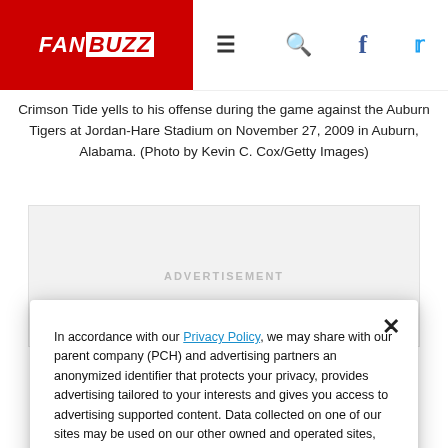FANBUZZ
Crimson Tide yells to his offense during the game against the Auburn Tigers at Jordan-Hare Stadium on November 27, 2009 in Auburn, Alabama. (Photo by Kevin C. Cox/Getty Images)
[Figure (other): Advertisement placeholder block with light gray background]
In accordance with our Privacy Policy, we may share with our parent company (PCH) and advertising partners an anonymized identifier that protects your privacy, provides advertising tailored to your interests and gives you access to advertising supported content. Data collected on one of our sites may be used on our other owned and operated sites, which sites are identified in our Privacy Policy. All of our sites are governed by the same Privacy Policy, and by proceeding to access this site, you are consenting to that Privacy Policy.